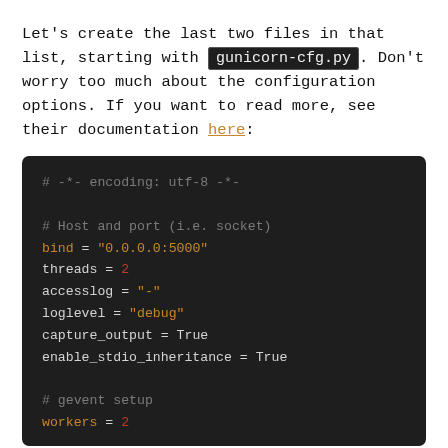Let's create the last two files in that list, starting with gunicorn-cfg.py. Don't worry too much about the configuration options. If you want to read more, see their documentation here:
[Figure (screenshot): Dark-themed code block showing gunicorn configuration file contents: encoding comment, host/port bind, threads, accesslog, loglevel, capture_output, enable_stdio_inheritance settings, and gevent setup with workers.]